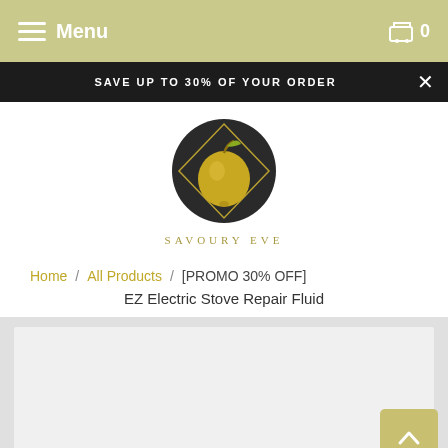Menu  0
SAVE UP TO 30% OF YOUR ORDER
[Figure (logo): Savoury Eve logo: gold apple on dark circular badge with diamond border]
SAVOURY EVE
Home / All Products / [PROMO 30% OFF] EZ Electric Stove Repair Fluid
EZ Electric Stove Repair Fluid
[Figure (photo): Product image placeholder area, light grey background]